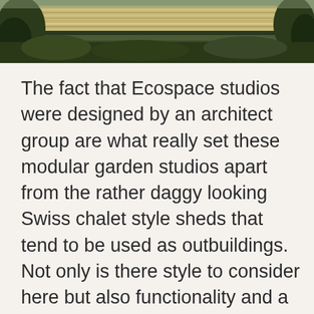[Figure (photo): Exterior photo of a modern flat-roofed modular garden studio building, with green foliage and trees surrounding it, shot from ground level.]
The fact that Ecospace studios were designed by an architect group are what really set these modular garden studios apart from the rather daggy looking Swiss chalet style sheds that tend to be used as outbuildings. Not only is there style to consider here but also functionality and a lot of attention has been paid to the level of insulation offered in the walls and Scandinavian windows and doors. However as architects, Ecospace also cater to other needs and are able to offer bespoke studios as well as holiday retreats, houses and large